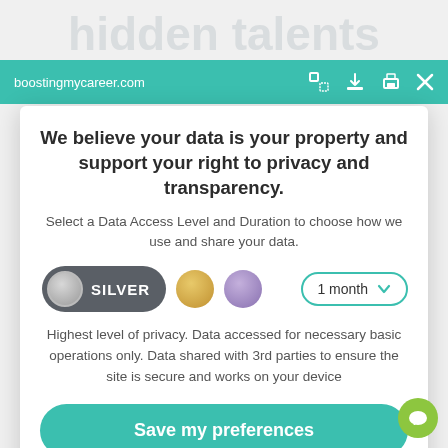hidden talents and strengths
boostingmycareer.com
We believe your data is your property and support your right to privacy and transparency.
Select a Data Access Level and Duration to choose how we use and share your data.
[Figure (screenshot): Data access level selector with SILVER button, gold circle, purple circle, and 1 month dropdown]
Highest level of privacy. Data accessed for necessary basic operations only. Data shared with 3rd parties to ensure the site is secure and works on your device
Save my preferences
Customize  Privacy policy  |  Do Not S…